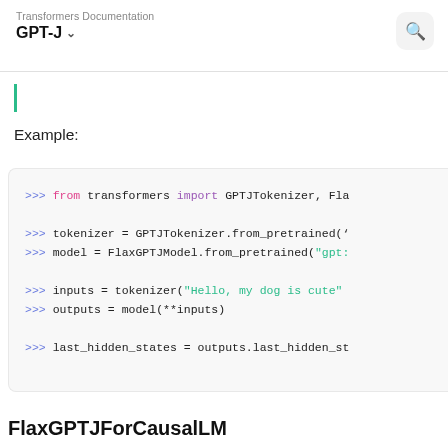Transformers Documentation
GPT-J
Example:
[Figure (screenshot): Python code block showing: from transformers import GPTJTokenizer, Fla... / tokenizer = GPTJTokenizer.from_pretrained('... / model = FlaxGPTJModel.from_pretrained("gpt:... / inputs = tokenizer("Hello, my dog is cute"... / outputs = model(**inputs) / last_hidden_states = outputs.last_hidden_st...]
FlaxGPTJForCausalLM